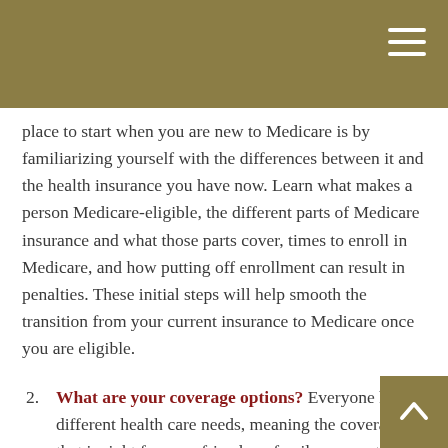place to start when you are new to Medicare is by familiarizing yourself with the differences between it and the health insurance you have now. Learn what makes a person Medicare-eligible, the different parts of Medicare insurance and what those parts cover, times to enroll in Medicare, and how putting off enrollment can result in penalties. These initial steps will help smooth the transition from your current insurance to Medicare once you are eligible.
2. What are your coverage options? Everyone has different health care needs, meaning the coverage that is right for your friends or family may not be right for you. Will you enroll in Original Medicare or would you prefer a Medicare Advantage Plan that may have your provider networks or have different costs but that offers additional coverage? If you have current